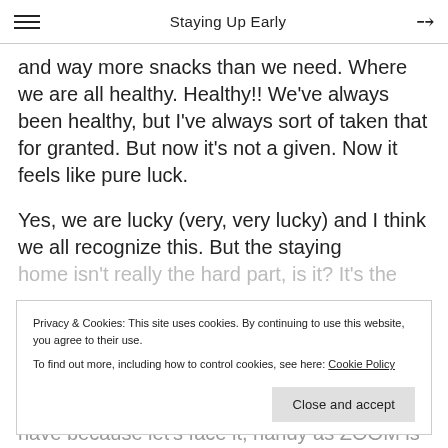Staying Up Early
and way more snacks than we need. Where we are all healthy. Healthy!! We've always been healthy, but I've always sort of taken that for granted. But now it's not a given. Now it feels like pure luck.
Yes, we are lucky (very, very lucky) and I think we all recognize this. But the staying
home isn't really the hard part, is it? It's the
Privacy & Cookies: This site uses cookies. By continuing to use this website, you agree to their use.
To find out more, including how to control cookies, see here: Cookie Policy
have because let's face it, handy as ZOOM is